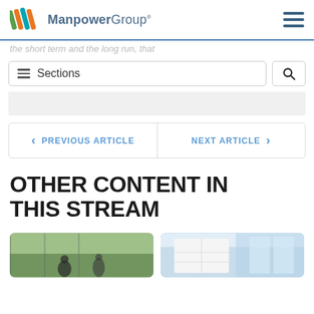[Figure (logo): ManpowerGroup logo with colored diagonal stripes and text]
the short term and the long run, that
≡  Sections
🔍
< PREVIOUS ARTICLE    NEXT ARTICLE >
OTHER CONTENT IN THIS STREAM
[Figure (photo): Two people in a meeting room with outdoor trees visible]
[Figure (photo): Person at a whiteboard or office setting]